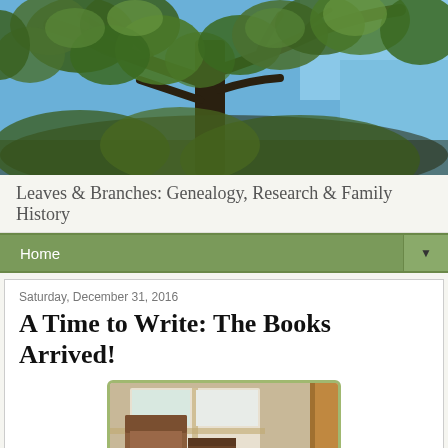[Figure (photo): Photograph of tree branches with green leaves against a blue sky, taken from below looking upward]
Leaves & Branches: Genealogy, Research & Family History
Home
Saturday, December 31, 2016
A Time to Write: The Books Arrived!
[Figure (photo): Photo of books including one titled 'Remembrances' sitting near a window, with a brown book box/sleeve visible]